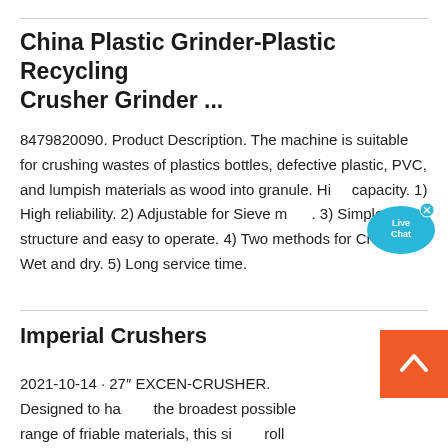China Plastic Grinder-Plastic Recycling Crusher Grinder ...
8479820090. Product Description. The machine is suitable for crushing wastes of plastics bottles, defective plastic, PVC, and lumpish materials as wood into granule. High capacity. 1) High reliability. 2) Adjustable for Sieve mesh. 3) Simple structure and easy to operate. 4) Two methods for Crusher: Wet and dry. 5) Long service time.
Imperial Crushers
2021-10-14 · 27″ EXCEN-CRUSHER. Designed to handle the broadest possible range of friable materials, this single roll crusher is engineered for superior performance and reliability. The UCC 27" EXCEN-CRUSHER has been
[Figure (illustration): Live Chat speech bubble widget — cyan/teal colored bubble with 'Live Chat' text in white, with a small 'x' close button in the top right corner.]
[Figure (other): Orange 'back to top' button with a white upward-pointing chevron/arrow icon.]